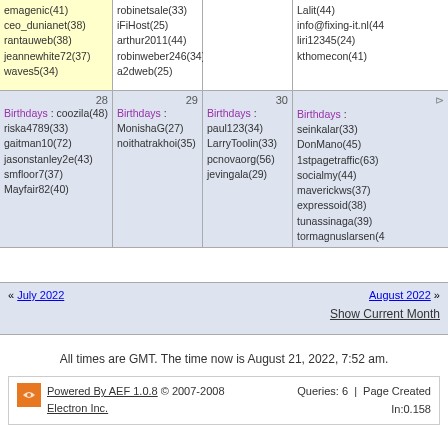| (col1) | (col2) | (col3) | (col4) |
| --- | --- | --- | --- |
| emagenic(41)
ceo_dunianet(38)
rantauweb(38)
jeannewhite72(37)
waves5(34) | robinetsale(33)
iFiHost(25)
arthur2011(44)
robinweber246(34)
a2dweb(25) |  | Lalit(44)
info@fixing-it.nl(44)
liri12345(24)
kthomecon(41) |
| 28
Birthdays: coozila(48)
riska4789(33)
gaitman10(72)
jasonstanley2e(43)
smfloor7(37)
Mayfair82(40) | 29
Birthdays: MonishaG(27)
noithatrakhoi(35) | 30
Birthdays: paul123(34)
LarryToolin(33)
pcnovaorg(56)
jevingala(29) | 31
Birthdays: seinkalar(33)
DonMano(45)
1stpagetraffic(63)
socialmy(44)
maverickws(37)
expressoid(38)
tunassinaga(39)
tormagnuslarsen(4...) |
« July 2022    August 2022 »
Show Current Month
All times are GMT. The time now is August 21, 2022, 7:52 am.
Powered By AEF 1.0.8 © 2007-2008 Electron Inc.    Queries: 6 | Page Created In:0.158